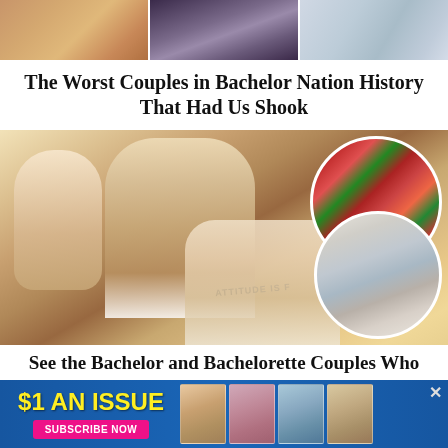[Figure (photo): Three cropped photos side by side: left shows a person in blue/gold floral clothing, center shows dark hair with hands, right shows a person in a light blue shirt]
The Worst Couples in Bachelor Nation History That Had Us Shook
[Figure (photo): Main large photo of a man with gray-streaked hair, a young toddler girl, and a blonde woman smiling together. Two circular inset photos on the right: top circle shows a family in red and green striped Christmas pajamas, bottom circle shows a woman with a young child in a kitchen.]
See the Bachelor and Bachelorette Couples Who Have Kids Together
[Figure (photo): Advertisement banner: $1 AN ISSUE with US Weekly magazine covers and SUBSCRIBE NOW button in pink]